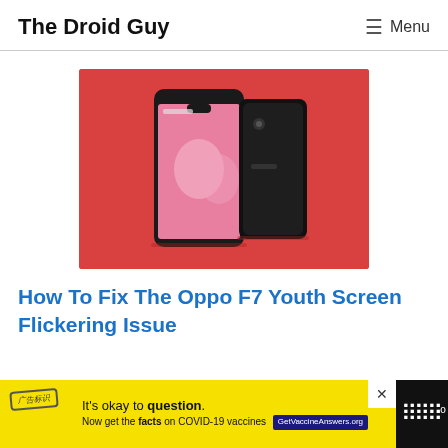The Droid Guy   ☰ Menu
[Figure (photo): Two Oppo F7 Youth smartphones on a red background — one showing the front with a pink floral wallpaper and notch display, another showing the back in black]
How To Fix The Oppo F7 Youth Screen Flickering Issue
[Figure (infographic): Advertisement banner: yellow background with text 'It's okay to question. Now get the facts on COVID-19 vaccines GetVaccineAnswers.org' with a close button and a logo on the right]